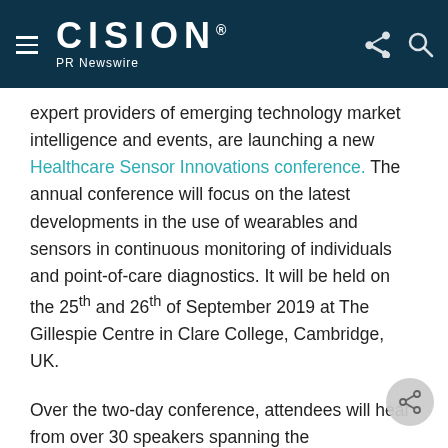CISION PR Newswire
expert providers of emerging technology market intelligence and events, are launching a new Healthcare Sensor Innovations conference. The annual conference will focus on the latest developments in the use of wearables and sensors in continuous monitoring of individuals and point-of-care diagnostics. It will be held on the 25th and 26th of September 2019 at The Gillespie Centre in Clare College, Cambridge, UK.
Over the two-day conference, attendees will hear from over 30 speakers spanning the pharmaceutical, medical device, materials, and electronics industries. Speakers include GSK, Boston Scientific, Dexcom